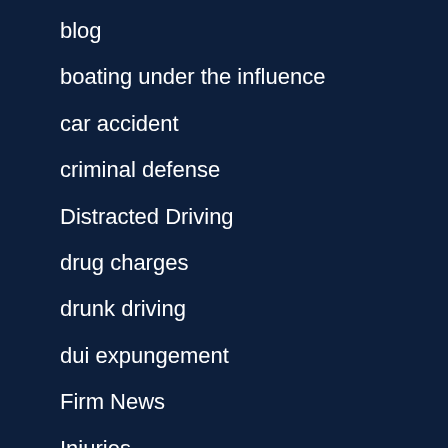blog
boating under the influence
car accident
criminal defense
Distracted Driving
drug charges
drunk driving
dui expungement
Firm News
Injuries
Uncategorized
vehicular assault or homicide